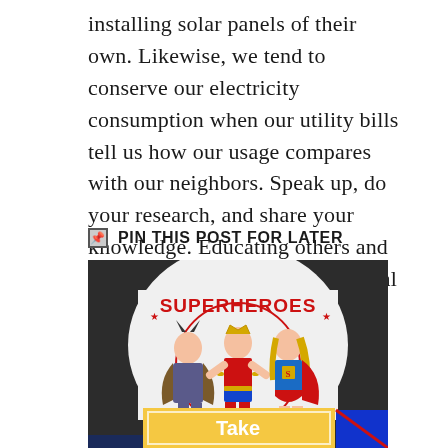installing solar panels of their own. Likewise, we tend to conserve our electricity consumption when our utility bills tell us how our usage compares with our neighbors. Speak up, do your research, and share your knowledge. Educating others and supporting positive environmental change can have a bigger impact than you realize.
📌 PIN THIS POST FOR LATER
[Figure (photo): A person wearing a white t-shirt with a 'SUPERHEROES' graphic showing comic-book female superhero characters. Below the shirt graphic is a yellow/gold banner with white text reading 'Take' and partially visible text beneath.]